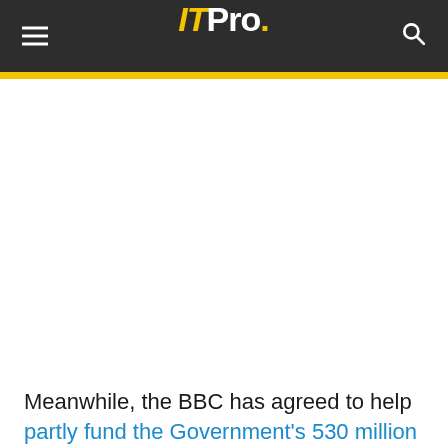ITPro.
Meanwhile, the BBC has agreed to help partly fund the Government's 530 million broadband push to help